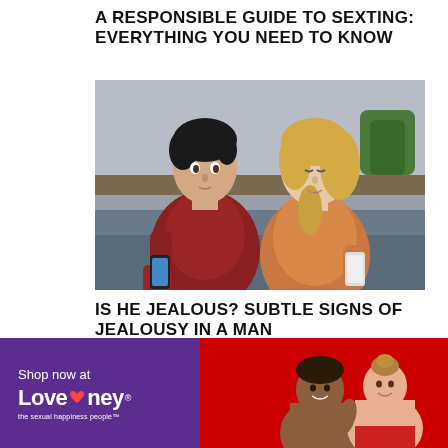A RESPONSIBLE GUIDE TO SEXTING: EVERYTHING YOU NEED TO KNOW
[Figure (photo): A man in a red sweater and a woman in an orange top sitting back-to-back on a couch, each looking at their own smartphone.]
IS HE JEALOUS? SUBTLE SIGNS OF JEALOUSY IN A MAN
[Figure (advertisement): Lovehoney advertisement banner: purple panel on left saying 'Shop now at Lovehoney - the sexual happiness people', red panel on right with a couple embracing.]